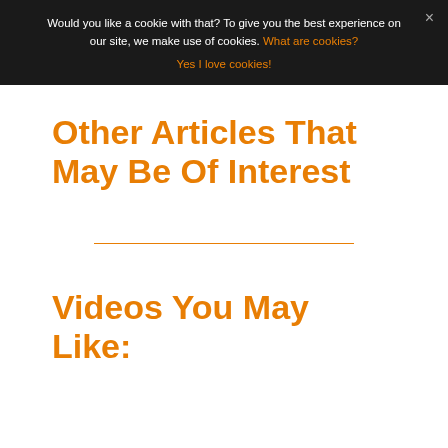Would you like a cookie with that? To give you the best experience on our site, we make use of cookies. What are cookies?
Yes I love cookies!
Other Articles That May Be Of Interest
Videos You May Like: